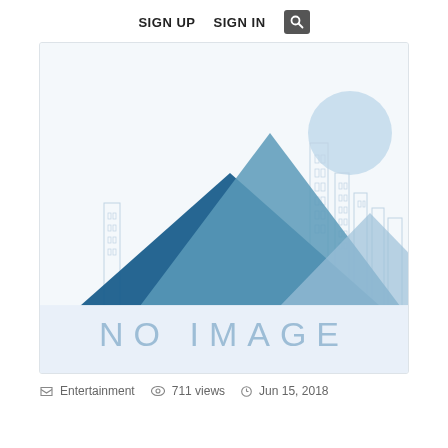SIGN UP   SIGN IN
[Figure (illustration): Placeholder 'no image' graphic showing stylized blue mountains and city skyline silhouette with a circle representing the sun, and 'NO IMAGE' text at the bottom]
Entertainment   711 views   Jun 15, 2018